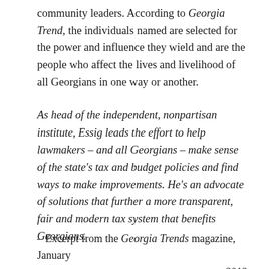community leaders. According to Georgia Trend, the individuals named are selected for the power and influence they wield and are the people who affect the lives and livelihood of all Georgians in one way or another.
As head of the independent, nonpartisan institute, Essig leads the effort to help lawmakers – and all Georgians – make sense of the state's tax and budget policies and find ways to make improvements. He's an advocate of solutions that further a more transparent, fair and modern tax system that benefits Georgians.
– Excerpt from the Georgia Trends magazine, January 2012